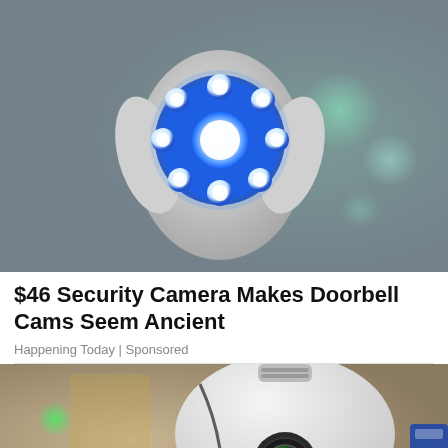[Figure (photo): Security camera shaped like a lightbulb with glowing blue LED ring, photographed against a gray and teal blurred background.]
$46 Security Camera Makes Doorbell Cams Seem Ancient
Happening Today | Sponsored
[Figure (photo): Hand holding a white lightbulb-shaped security camera with a visible camera lens, photographed with green bokeh lights in the background and a blue object on the right.]